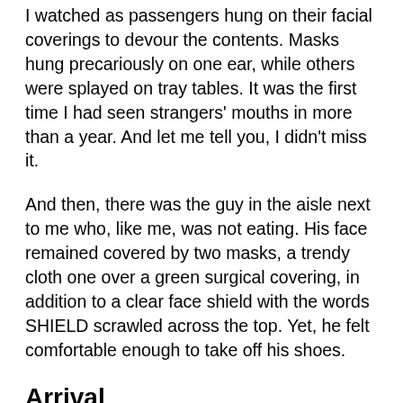I watched as passengers hung on their facial coverings to devour the contents. Masks hung precariously on one ear, while others were splayed on tray tables. It was the first time I had seen strangers' mouths in more than a year. And let me tell you, I didn't miss it.
And then, there was the guy in the aisle next to me who, like me, was not eating. His face remained covered by two masks, a trendy cloth one over a green surgical covering, in addition to a clear face shield with the words SHIELD scrawled across the top. Yet, he felt comfortable enough to take off his shoes.
Arrival